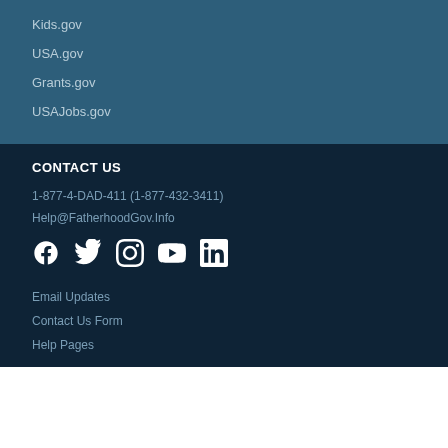Kids.gov
USA.gov
Grants.gov
USAJobs.gov
CONTACT US
1-877-4-DAD-411 (1-877-432-3411)
Help@FatherhoodGov.Info
[Figure (infographic): Social media icons: Facebook, Twitter, Instagram, YouTube, LinkedIn]
Email Updates
Contact Us Form
Help Pages